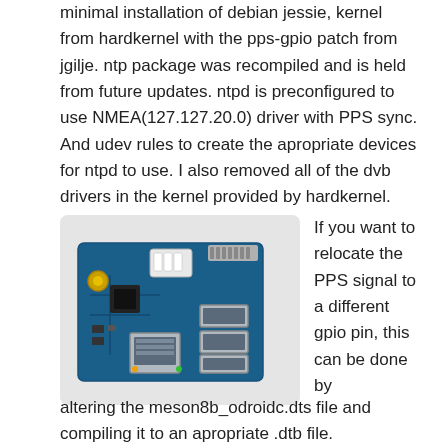minimal installation of debian jessie, kernel from hardkernel with the pps-gpio patch from jgilje. ntp package was recompiled and is held from future updates. ntpd is preconfigured to use NMEA(127.127.20.0) driver with PPS sync. And udev rules to create the apropriate devices for ntpd to use. I also removed all of the dvb drivers in the kernel provided by hardkernel.
[Figure (photo): Photo of an ODROID single-board computer showing a blue PCB with USB ports, Ethernet port, GPIO header, and various connectors.]
If you want to relocate the PPS signal to a different gpio pin, this can be done by altering the meson8b_odroidc.dts file and compiling it to an apropriate .dtb file.